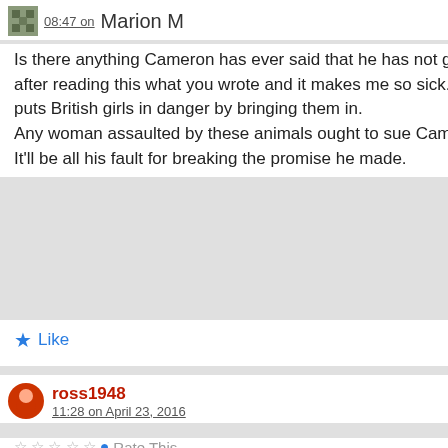08:47 on Marion M   Reply
Is there anything Cameron has ever said that he has not gone back on. I just saw it on the news after reading this what you wrote and it makes me so sick. He knows what they'r like and still he puts British girls in danger by bringing them in.
Any woman assaulted by these animals ought to sue Cameron.
It'll be all his fault for breaking the promise he made.
★ Like
ross1948  11:28 on April 23, 2016   Reply  🔗
Rate This
…with over two months to go until the referendum date, 94 percent had already made up their minds, 67 percent were firmly in the 'Remain' camp, while 28 percent were planning to vote 'Leave'.
That's The Local, talking about their survey of...